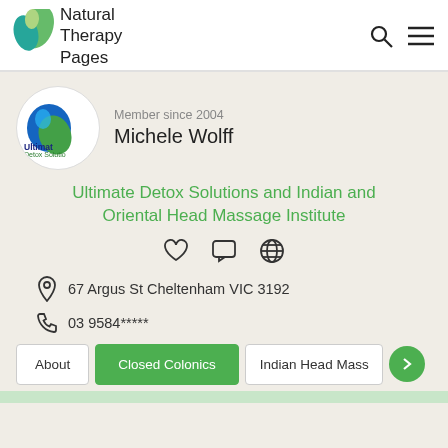Natural Therapy Pages
[Figure (logo): Ultimate Detox Solutions logo — circular avatar with blue/green leaf design and text 'Ultimat Detox Solutio']
Member since 2004
Michele Wolff
Ultimate Detox Solutions and Indian and Oriental Head Massage Institute
67 Argus St Cheltenham VIC 3192
03 9584*****
About | Closed Colonics | Indian Head Mass